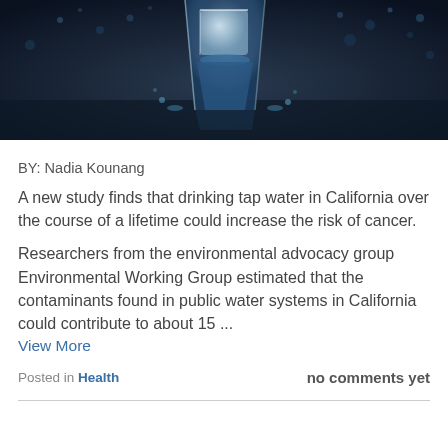[Figure (photo): Dark blue artistic photo of a glass of water with water droplets and splashes on a dark reflective surface]
BY: Nadia Kounang
A new study finds that drinking tap water in California over the course of a lifetime could increase the risk of cancer.
Researchers from the environmental advocacy group Environmental Working Group estimated that the contaminants found in public water systems in California could contribute to about 15 ...
View More
Posted in Health                                          no comments yet